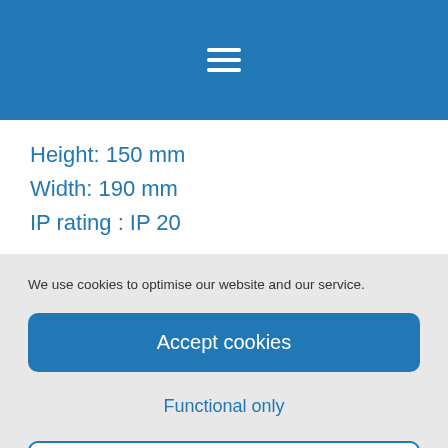[Figure (screenshot): Blue header bar with hamburger menu icon (three white horizontal lines)]
Height: 150 mm
Width: 190 mm
IP rating : IP 20
We use cookies to optimise our website and our service.
Accept cookies
Functional only
View preferences